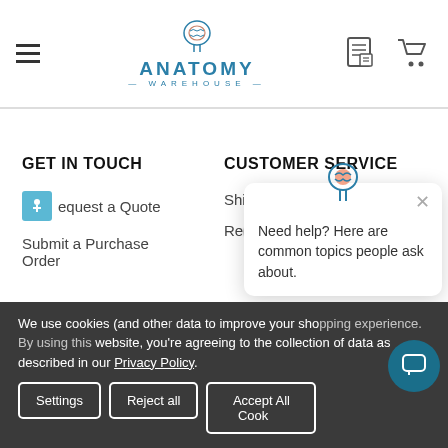Anatomy Warehouse
GET IN TOUCH
CUSTOMER SERVICE
Request a Quote
Shipping Info
Submit a Purchase Order
Request a Return
Need help? Here are common topics people ask about.
We use cookies (and other data to improve your sho... website, you're agreeing to the collection of data as described in our Privacy Policy.
Settings
Reject all
Accept All Cookies